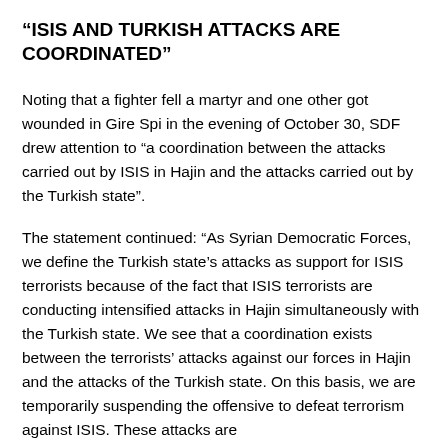“ISIS AND TURKISH ATTACKS ARE COORDINATED”
Noting that a fighter fell a martyr and one other got wounded in Gire Spi in the evening of October 30, SDF drew attention to “a coordination between the attacks carried out by ISIS in Hajin and the attacks carried out by the Turkish state”.
The statement continued: “As Syrian Democratic Forces, we define the Turkish state’s attacks as support for ISIS terrorists because of the fact that ISIS terrorists are conducting intensified attacks in Hajin simultaneously with the Turkish state. We see that a coordination exists between the terrorists’ attacks against our forces in Hajin and the attacks of the Turkish state. On this basis, we are temporarily suspending the offensive to defeat terrorism against ISIS. These attacks are